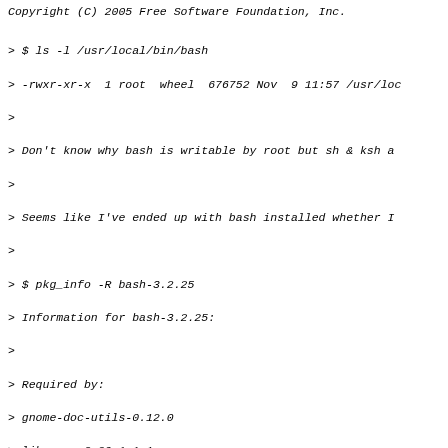Copyright (C) 2005 Free Software Foundation, Inc.
> $ ls -l /usr/local/bin/bash
> -rwxr-xr-x  1 root  wheel  676752 Nov  9 11:57 /usr/lo
>
> Don't know why bash is writable by root but sh & ksh a
>
> Seems like I've ended up with bash installed whether I
>
> $ pkg_info -R bash-3.2.25
> Information for bash-3.2.25:
>
> Required by:
> gnome-doc-utils-0.12.0
> libgnome-2.20.1.1_1
> rarian-0.6.0_1
Previous message: Apparently, csh programming is considered harmful.
Next message: Apparently, csh programming is considered harmful.
Messages sorted by: [ date ] [ thread ] [ subject ] [ author ]
More information about the freebsd-questions mailing list